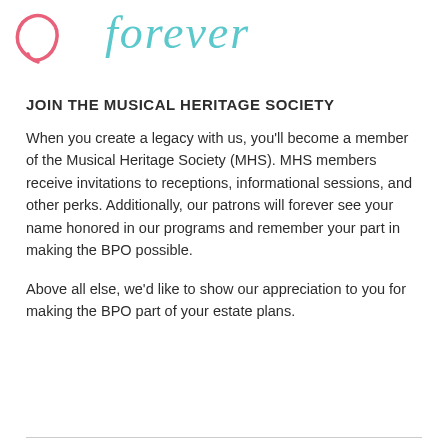[Figure (illustration): Partial decorative hand-lettered illustration showing a pink cursive loop shape on the left and teal/turquoise cursive text reading 'forever' on the right, cropped at top of page]
JOIN THE MUSICAL HERITAGE SOCIETY
When you create a legacy with us, you'll become a member of the Musical Heritage Society (MHS). MHS members receive invitations to receptions, informational sessions, and other perks. Additionally, our patrons will forever see your name honored in our programs and remember your part in making the BPO possible.
Above all else, we'd like to show our appreciation to you for making the BPO part of your estate plans.